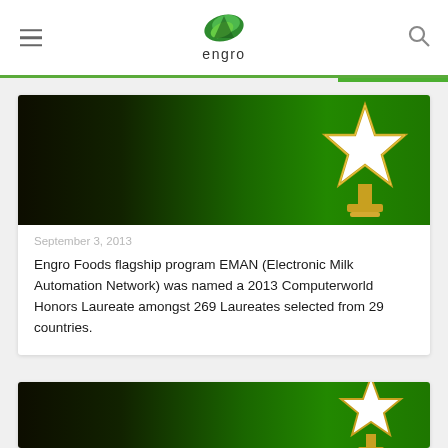engro
[Figure (photo): Award trophy with white star on green background for the first article card]
September 3, 2013
Engro Foods flagship program EMAN (Electronic Milk Automation Network) was named a 2013 Computerworld Honors Laureate amongst 269 Laureates selected from 29 countries.
[Figure (photo): Award trophy with white star on green background for the second article card (partially visible)]